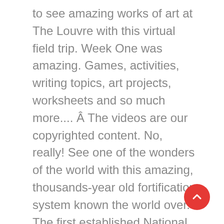to see amazing works of art at The Louvre with this virtual field trip. Week One was amazing. Games, activities, writing topics, art projects, worksheets and so much more.... Â The videos are our copyrighted content. No, really! See one of the wonders of the world with this amazing, thousands-year old fortification system known the world over. The first established National Park and popular vacation destination is now accessible to virtual travelers. Yes. San Diego Zoo The San Diego Zoo has a website just for kids with amazing videos, activities, and games. Our head of school has agreed to pay for all of our subscriptions.Â, Thank you for making our jobs easier. Here are 30+ great Virtual Field Trips for early learners to explore from your home on